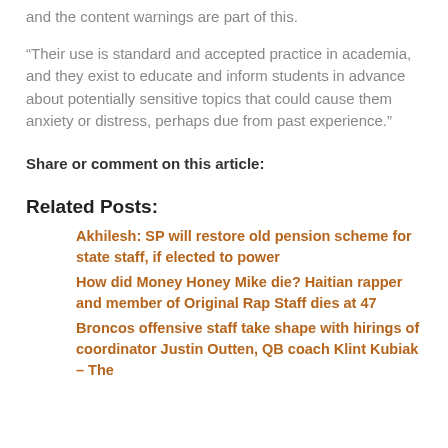and the content warnings are part of this.
“Their use is standard and accepted practice in academia, and they exist to educate and inform students in advance about potentially sensitive topics that could cause them anxiety or distress, perhaps due from past experience.”
Share or comment on this article:
Related Posts:
Akhilesh: SP will restore old pension scheme for state staff, if elected to power
How did Money Honey Mike die? Haitian rapper and member of Original Rap Staff dies at 47
Broncos offensive staff take shape with hirings of coordinator Justin Outten, QB coach Klint Kubiak – The